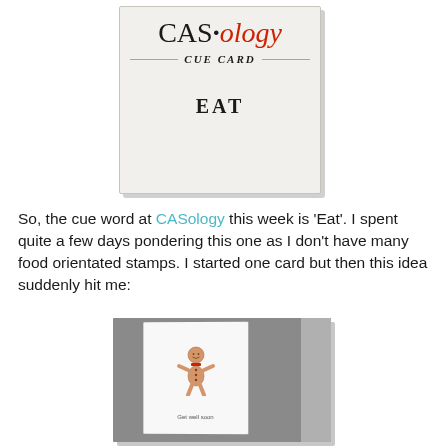[Figure (illustration): CASology Cue Card image showing the title 'CAS·ology' in serif font with 'ology' in red italic, subtitle 'CUE CARD' with horizontal lines, and the cue word 'EAT' in bold.]
So, the cue word at CASology this week is 'Eat'. I spent quite a few days pondering this one as I don't have many food orientated stamps. I started one card but then this idea suddenly hit me:
[Figure (photo): Photo of a white greeting card leaning against a surface, featuring a gingerbread man stamp and the text 'Get well soon' below it.]